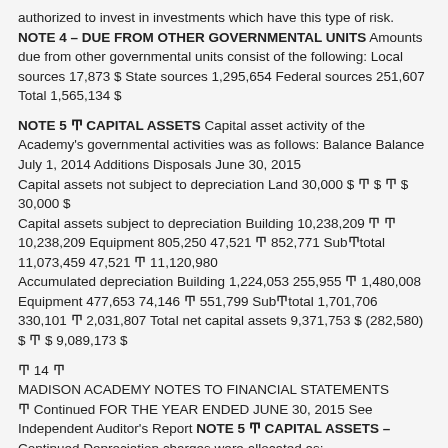authorized to invest in investments which have this type of risk. NOTE 4 – DUE FROM OTHER GOVERNMENTAL UNITS Amounts due from other governmental units consist of the following: Local sources 17,873 $ State sources 1,295,654 Federal sources 251,607 Total 1,565,134 $
NOTE 5 Ͳ CAPITAL ASSETS Capital asset activity of the Academy's governmental activities was as follows: Balance Balance July 1, 2014 Additions Disposals June 30, 2015 Capital assets not subject to depreciation Land 30,000 $ Ͳ $ Ͳ $ 30,000 $ Capital assets subject to depreciation Building 10,238,209 Ͳ Ͳ 10,238,209 Equipment 805,250 47,521 Ͳ 852,771 SubͲtotal 11,073,459 47,521 Ͳ 11,120,980 Accumulated depreciation Building 1,224,053 255,955 Ͳ 1,480,008 Equipment 477,653 74,146 Ͳ 551,799 SubͲtotal 1,701,706 330,101 Ͳ 2,031,807 Total net capital assets 9,371,753 $ (282,580) $ Ͳ $ 9,089,173 $
Ͳ 14 Ͳ
MADISON ACADEMY NOTES TO FINANCIAL STATEMENTS
Ͳ Continued FOR THE YEAR ENDED JUNE 30, 2015 See Independent Auditor's Report NOTE 5 Ͳ CAPITAL ASSETS –
Continued Depreciation charges were allocated as: